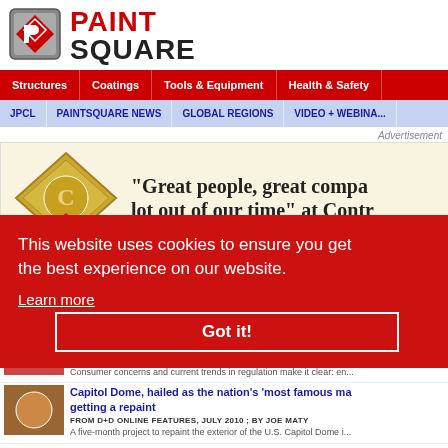[Figure (logo): PaintSquare logo with diamond P icon in gray frame, red PAINT text and black SQUARE text]
Structures | Coatings | Tools & Equipment | Health & Safety
JPCL | PAINTSQUARE NEWS | GLOBAL REGIONS | VIDEO + WEBINARS
Advertisement
[Figure (illustration): Advertisement banner: gold diamond logo with swirl, text reading "Great people, great compa... lot out of our time" at Contr...]
This website uses cookies to ensure you get the best experience on our website.
Learn more
Got it!
FROM D+D ONLINE FEATURES, NOVEMBER...
High performance, low VOCs: Formulating advances d... epoxies that meet the demands of the day for metal co...
FROM D+D ONLINE FEATURES, AUGUST 2010 ; BY DANIEL J. WEINMANN
Consumer concerns and current trends in regulation make it clear: en...
Capitol Dome, hailed as the nation's 'most famous ma... getting a repaint
FROM D+D ONLINE FEATURES, JULY 2010 ; BY JOE MATY
A five-month project to repaint the exterior of the U.S. Capitol Dome i...